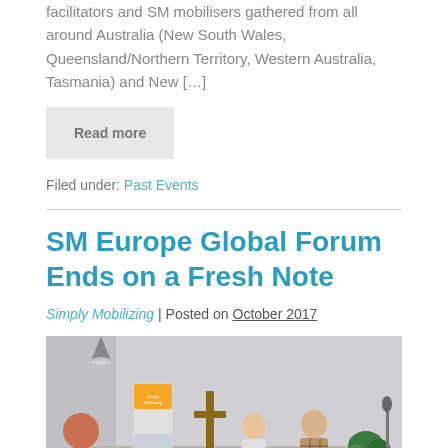facilitators and SM mobilisers gathered from all around Australia (New South Wales, Queensland/Northern Territory, Western Australia, Tasmania) and New […]
Read more
Filed under: Past Events
SM Europe Global Forum Ends on a Fresh Note
Simply Mobilizing | Posted on October 2017
[Figure (photo): Two men standing on a stage in a church-like setting with a wooden cross, a Simply Mobilizing banner, speaker equipment, and plants in the background.]